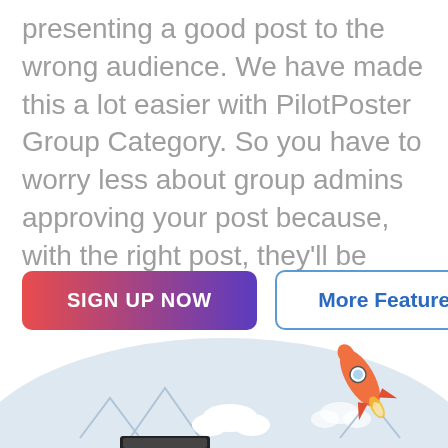presenting a good post to the wrong audience. We have made this a lot easier with PilotPoster Group Category. So you have to worry less about group admins approving your post because, with the right post, they'll be forced to.
[Figure (other): Two buttons: 'SIGN UP NOW' with a red-to-purple gradient background and white bold text, and 'More Features' with a white background, blue border, and blue bold text.]
[Figure (illustration): Bottom portion of an illustration showing a light blue/grey semicircle background with mountain outlines, clouds, and a cartoon orange rocket ship flying to the right. Partial view of a phone or screen element at the bottom.]